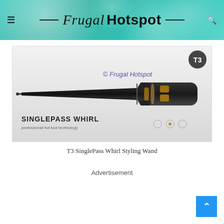Frugal Hotspot
[Figure (photo): T3 SinglePass Whirl Styling Wand product box showing a black tapered curling wand on a white/light grey background. Box text reads 'SINGLEPASS WHIRL'. Watermark reads '© Frugal Hotspot'. T3 logo visible in upper right corner.]
T3 SinglePass Whirl Styling Wand
Advertisement